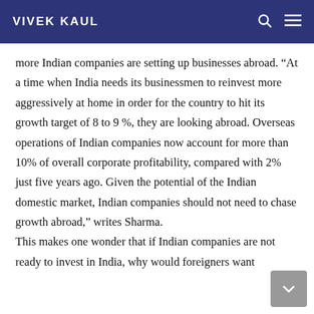VIVEK KAUL
more Indian companies are setting up businesses abroad. “At a time when India needs its businessmen to reinvest more aggressively at home in order for the country to hit its growth target of 8 to 9 %, they are looking abroad. Overseas operations of Indian companies now account for more than 10% of overall corporate profitability, compared with 2% just five years ago. Given the potential of the Indian domestic market, Indian companies should not need to chase growth abroad,” writes Sharma. This makes one wonder that if Indian companies are not ready to invest in India, why would foreigners want